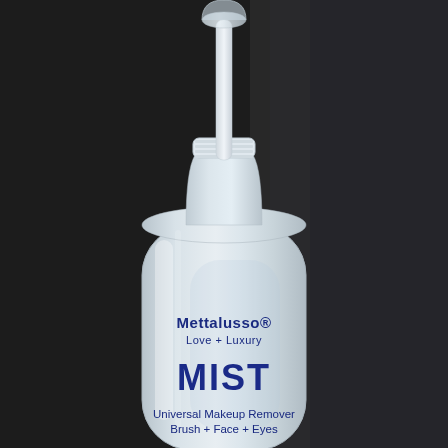[Figure (photo): A white frosted-glass spray bottle with a pump dispenser cap on a dark background. The bottle label reads: Mettalusso® Love + Luxury, MIST, Universal Makeup Remover, Brush + Face + Eyes.]